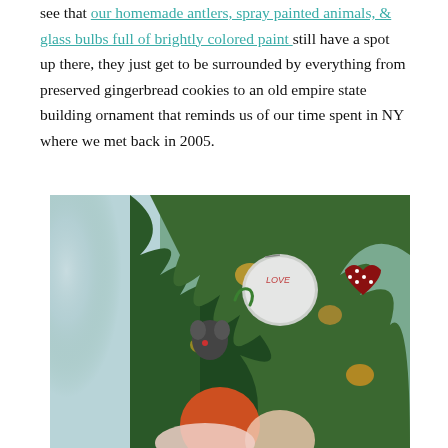see that our homemade antlers, spray painted animals, & glass bulbs full of brightly colored paint still have a spot up there, they just get to be surrounded by everything from preserved gingerbread cookies to an old empire state building ornament that reminds us of our time spent in NY where we met back in 2005.
[Figure (photo): Close-up photograph of a decorated Christmas tree showing various ornaments including what appears to be a round ornament with text, a heart-shaped ornament with polka dots, and colorful ornaments among green pine tree branches with warm golden lighting.]